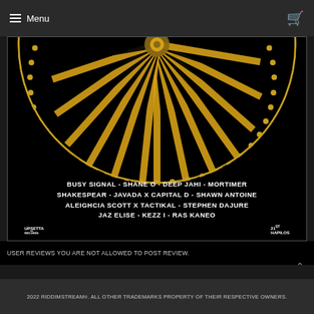Menu
[Figure (illustration): Album/compilation artwork featuring a black background with a golden radial sunburst/optical illusion circular design in black and gold/yellow. Artist names listed below: BUSY SIGNAL - SHANE O - DEEP JAHI - MORTIMER / SHAKESPEAR - JAVADA X CAPITAL D - SHAWN ANTOINE / ALEIGHCIA SCOTT X TACTIKAL - STEPHEN DAJURE / JAZ ELISE - KEZZ I - RAS KANEO. Upsetta Records and Hapilos logos at bottom corners.]
USER REVIEWS YOU ARE NOT ALLOWED TO POST REVIEW.
2022 RIDDIMSTREAM®. ALL OTHER TRADEMARKS PROPERTY OF THEIR RESPECTIVE OWNERS.